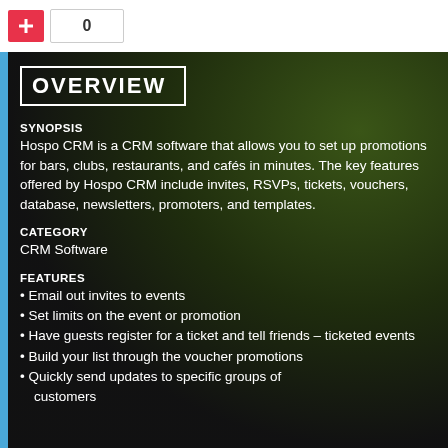[Figure (other): Red plus button and count box showing 0]
OVERVIEW
SYNOPSIS
Hospo CRM is a CRM software that allows you to set up promotions for bars, clubs, restaurants, and cafés in minutes. The key features offered by Hospo CRM include invites, RSVPs, tickets, vouchers, database, newsletters, promoters, and templates.
CATEGORY
CRM Software
FEATURES
Email out invites to events
Set limits on the event or promotion
Have guests register for a ticket and tell friends – ticketed events
Build your list through the voucher promotions
Quickly send updates to specific groups of customers